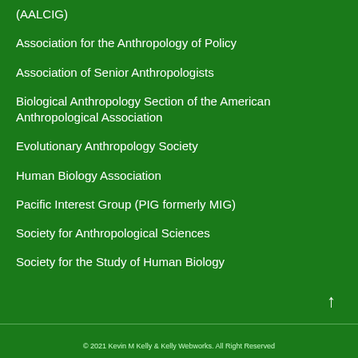(AALCIG)
Association for the Anthropology of Policy
Association of Senior Anthropologists
Biological Anthropology Section of the American Anthropological Association
Evolutionary Anthropology Society
Human Biology Association
Pacific Interest Group (PIG formerly MIG)
Society for Anthropological Sciences
Society for the Study of Human Biology
© 2021 Kevin M Kelly & Kelly Webworks. All Right Reserved